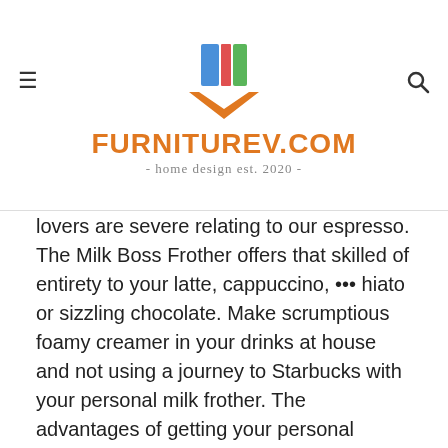FURNITUREV.COM - home design est. 2020 -
lovers are severe relating to our espresso. The Milk Boss Frother offers that skilled of entirety to your latte, cappuccino, ...hiato or sizzling chocolate. Make scrumptious foamy creamer in your drinks at house and not using a journey to Starbucks with your personal milk frother. The advantages of getting your personal electrical drink whisk mixer are countless, you may make your personal greatest latte, your tastes greatest.
MATCHA WHISKING, KETO COFFEE & MORE Clients say our frother works higher than a guide matcha whisk for making matcha tea and works much better than fork or whisk for keto bullet proof espresso. It really works very properly to combine nutritious protein powder drinks with no further container, blender or bottle shaker to clean. Aerate eggs with our mini mixer for the smoothest omelets and scrambled eggs you eve